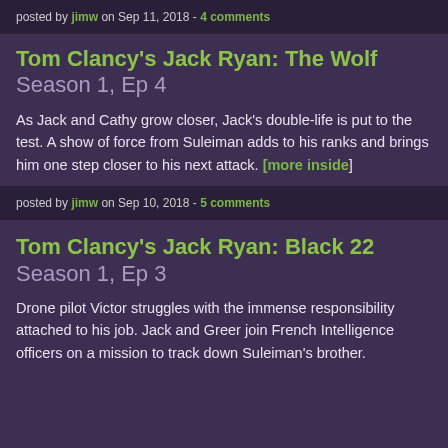posted by jimw on Sep 11, 2018 - 4 comments
Tom Clancy's Jack Ryan: The Wolf Season 1, Ep 4
As Jack and Cathy grow closer, Jack's double-life is put to the test. A show of force from Suleiman adds to his ranks and brings him one step closer to his next attack. [more inside]
posted by jimw on Sep 10, 2018 - 5 comments
Tom Clancy's Jack Ryan: Black 22 Season 1, Ep 3
Drone pilot Victor struggles with the immense responsibility attached to his job. Jack and Greer join French Intelligence officers on a mission to track down Suleiman's brother.